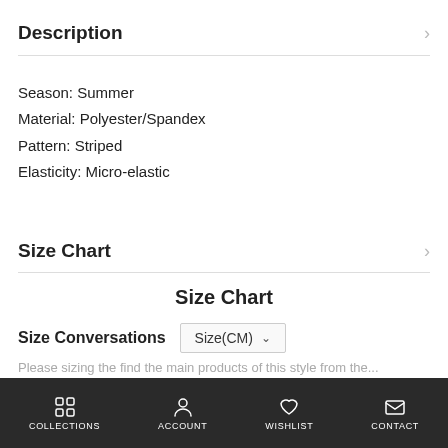Description
Season: Summer
Material: Polyester/Spandex
Pattern: Striped
Elasticity: Micro-elastic
Size Chart
Size Chart
Size Conversations  Size(CM)
Please sizing the find the main products of this style from the...
COLLECTIONS  ACCOUNT  WISHLIST  CONTACT